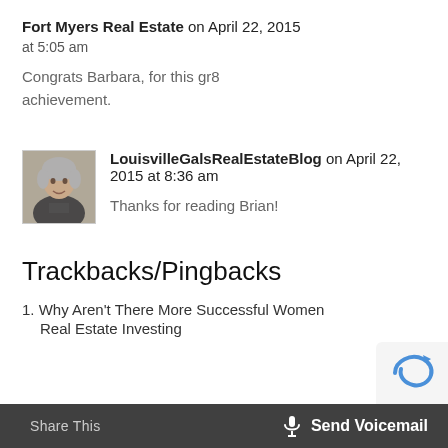Fort Myers Real Estate on April 22, 2015 at 5:05 am
Congrats Barbara, for this gr8 achievement.
[Figure (photo): Avatar photo of LouisvilleGalsRealEstateBlog author, a woman with short grey hair]
LouisvilleGalsRealEstateBlog on April 22, 2015 at 8:36 am
Thanks for reading Brian!
Trackbacks/Pingbacks
1. Why Aren't There More Successful Women Real Estate Investing
Share This   🎤 Send Voicemail